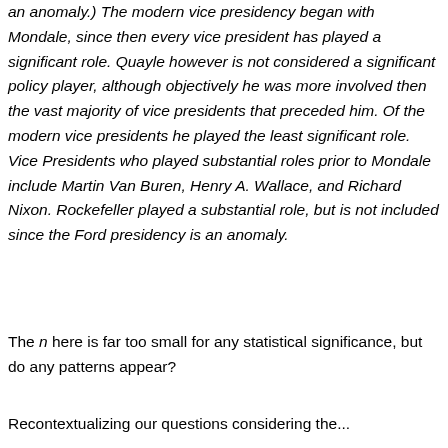an anomaly.) The modern vice presidency began with Mondale, since then every vice president has played a significant role. Quayle however is not considered a significant policy player, although objectively he was more involved then the vast majority of vice presidents that preceded him. Of the modern vice presidents he played the least significant role. Vice Presidents who played substantial roles prior to Mondale include Martin Van Buren, Henry A. Wallace, and Richard Nixon. Rockefeller played a substantial role, but is not included since the Ford presidency is an anomaly.
The n here is far too small for any statistical significance, but do any patterns appear?
Recontextualizing our questions considering the...